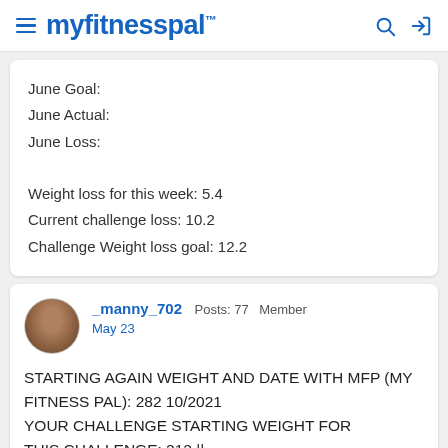myfitnesspal
June Goal:
June Actual:
June Loss:

Weight loss for this week: 5.4
Current challenge loss: 10.2
Challenge Weight loss goal: 12.2
_manny_702  Posts: 77  Member
May 23
STARTING AGAIN WEIGHT AND DATE WITH MFP (MY FITNESS PAL): 282 10/2021
YOUR CHALLENGE STARTING WEIGHT FOR THIS CHALLENGE: 212 ||